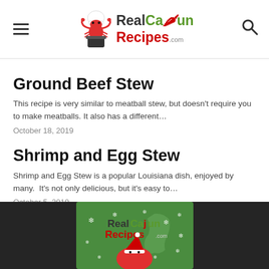RealCajunRecipes.com
Ground Beef Stew
This recipe is very similar to meatball stew, but doesn't require you to make meatballs. It also has a different…
October 18, 2019
Shrimp and Egg Stew
Shrimp and Egg Stew is a popular Louisiana dish, enjoyed by many.  It's not only delicious, but it's easy to…
October 5, 2019
[Figure (logo): RealCajunRecipes.com holiday logo with crawfish in Santa hat on green background with snowflakes]